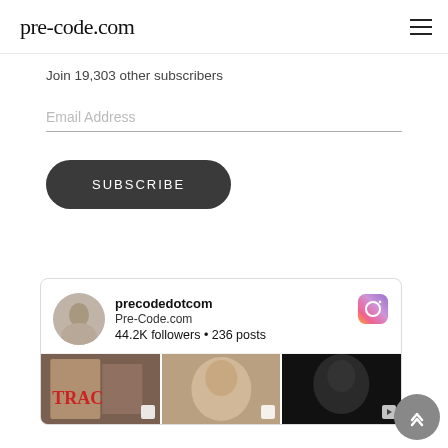pre-code.com
Join 19,303 other subscribers
Email Address
SUBSCRIBE
[Figure (screenshot): Instagram widget showing precodedotcom profile with avatar, Pre-Code.com site name, 44.2K followers, 236 posts, and three thumbnail images at the bottom]
[Figure (illustration): Back to top button (grey circle with upward chevron arrow)]